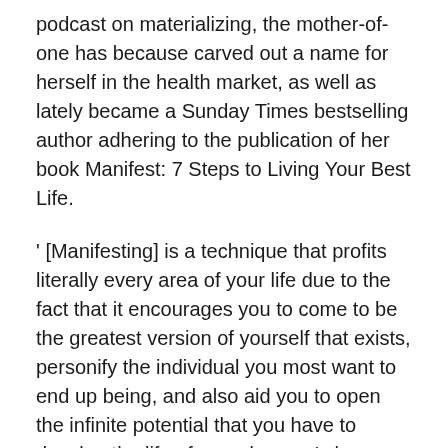podcast on materializing, the mother-of-one has because carved out a name for herself in the health market, as well as lately became a Sunday Times bestselling author adhering to the publication of her book Manifest: 7 Steps to Living Your Best Life.
' [Manifesting] is a technique that profits literally every area of your life due to the fact that it encourages you to come to be the greatest version of yourself that exists, personify the individual you most want to end up being, and also aid you to open the infinite potential that you have to develop the life of your dreams,' she proceeds.
What are the actions for